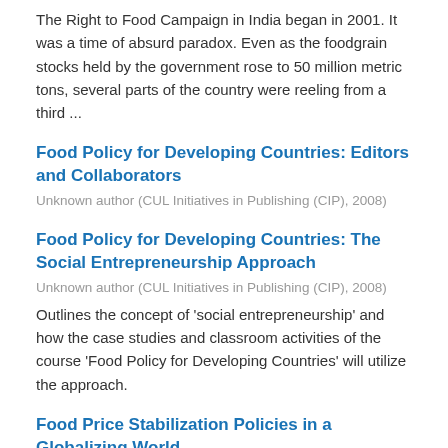The Right to Food Campaign in India began in 2001. It was a time of absurd paradox. Even as the foodgrain stocks held by the government rose to 50 million metric tons, several parts of the country were reeling from a third ...
Food Policy for Developing Countries: Editors and Collaborators
Unknown author (CUL Initiatives in Publishing (CIP), 2008)
Food Policy for Developing Countries: The Social Entrepreneurship Approach
Unknown author (CUL Initiatives in Publishing (CIP), 2008)
Outlines the concept of 'social entrepreneurship' and how the case studies and classroom activities of the course 'Food Policy for Developing Countries' will utilize the approach.
Food Price Stabilization Policies in a Globalizing World
Rashid, Shahidur (CUL Initiatives in Publishing (CIP), 2007)
This case examines various aspects of food price instability. It focuses on (1) the sources of price instability, (2) various policy